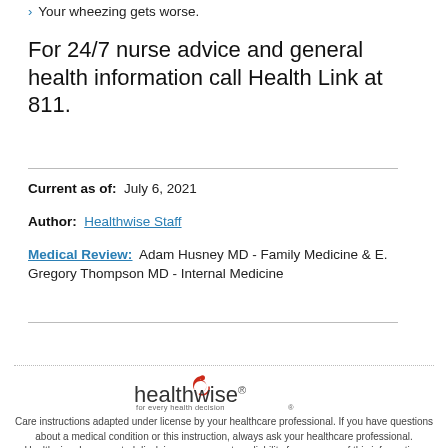Your wheezing gets worse.
For 24/7 nurse advice and general health information call Health Link at 811.
Current as of:  July 6, 2021
Author:  Healthwise Staff
Medical Review:  Adam Husney MD - Family Medicine & E. Gregory Thompson MD - Internal Medicine
[Figure (logo): Healthwise logo with tagline 'for every health decision']
Care instructions adapted under license by your healthcare professional. If you have questions about a medical condition or this instruction, always ask your healthcare professional. Healthwise, Incorporated disclaims any warranty or liability for your use of this information.